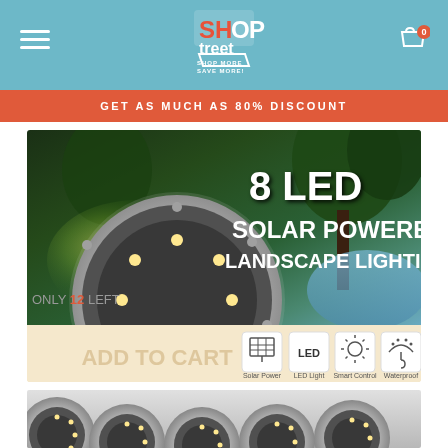[Figure (screenshot): ShopStreet e-commerce website header with teal background, hamburger menu, ShopStreet logo with shopping cart, and cart icon with 0 badge]
GET AS MUCH AS 80% DISCOUNT
[Figure (photo): 8 LED Solar Powered Landscape Lighting product banner showing a circular LED solar ground light against a garden background with trees. Text reads '8 LED SOLAR POWERED LANDSCAPE LIGHTING'. Bottom shows feature icons: Solar Power, LED Light, Smart Control, Waterproof. Left side shows 'ONLY 12 LEFT']
[Figure (photo): Bottom section showing multiple circular LED solar ground lights (8 pack) viewed from above, silver stainless steel finish with LED lights visible]